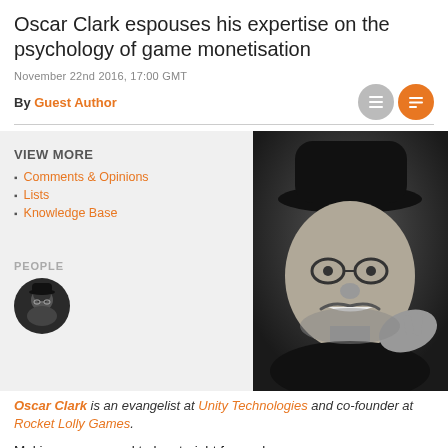Oscar Clark espouses his expertise on the psychology of game monetisation
November 22nd 2016, 17:00 GMT
By Guest Author
VIEW MORE
Comments & Opinions
Lists
Knowledge Base
[Figure (photo): Black and white photo of Oscar Clark wearing a bowler hat and glasses, making an expressive face]
PEOPLE
[Figure (photo): Small circular avatar photo of Oscar Clark in black and white]
Oscar Clark is an evangelist at Unity Technologies and co-founder at Rocket Lolly Games.
Making games used to be straight forward.